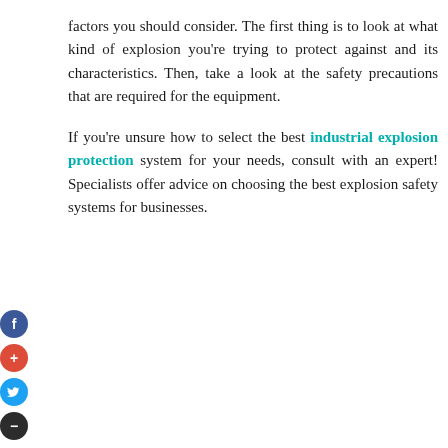factors you should consider. The first thing is to look at what kind of explosion you’re trying to protect against and its characteristics. Then, take a look at the safety precautions that are required for the equipment.
If you’re unsure how to select the best industrial explosion protection system for your needs, consult with an expert! Specialists offer advice on choosing the best explosion safety systems for businesses.
[Figure (other): Social media share buttons: Facebook (dark blue circle with 'f'), Google+ (red circle with '+'), Twitter (light blue circle with bird icon), and a dark circle with '-' symbol, positioned vertically on the left side of the page.]